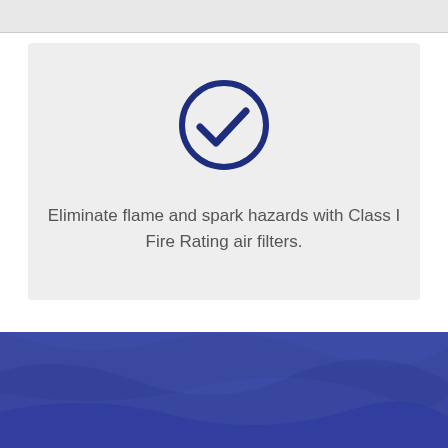[Figure (illustration): Gray bar at the top of the page, partial card from previous section]
[Figure (infographic): Light gray card with a dark navy blue circle checkmark icon centered at top, and text below describing Class I Fire Rating air filters]
Eliminate flame and spark hazards with Class I Fire Rating air filters.
[Figure (photo): Dark blue/indigo footer section with fabric or crumpled texture background]